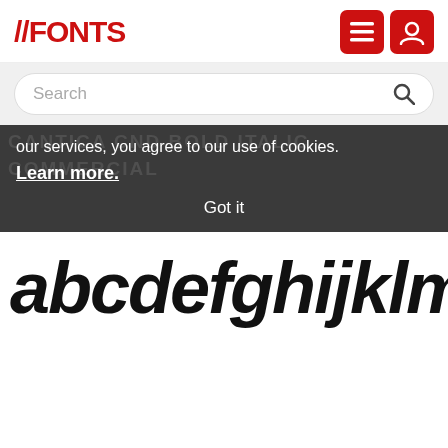FFONTS
Search
our services, you agree to our use of cookies. Learn more. Got it
[Figure (illustration): Large bold italic font preview showing lowercase letters: abcdefghijklm]